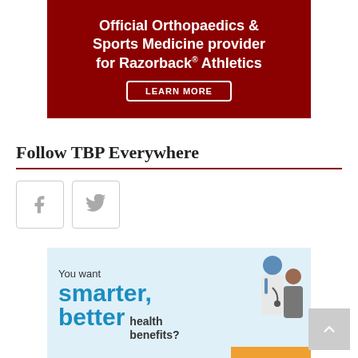[Figure (infographic): Dark red advertisement banner: 'Official Orthopaedics & Sports Medicine provider for Razorback® Athletics' with a 'LEARN MORE' button]
Follow TBP Everywhere
[Figure (infographic): Two social media icon boxes: Facebook (f) and Twitter (bird icon), with light grey borders]
[Figure (infographic): Light blue health benefits advertisement: 'You want smarter, better health benefits?' with illustration of doctor and patient]